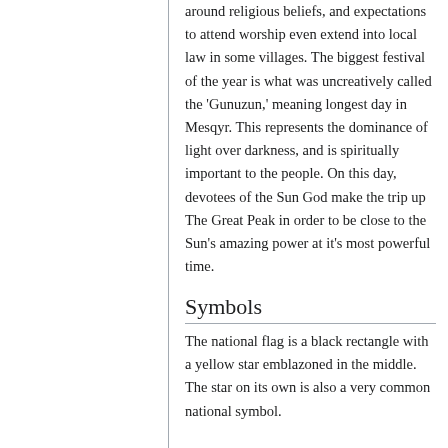around religious beliefs, and expectations to attend worship even extend into local law in some villages. The biggest festival of the year is what was uncreatively called the 'Gunuzun,' meaning longest day in Mesqyr. This represents the dominance of light over darkness, and is spiritually important to the people. On this day, devotees of the Sun God make the trip up The Great Peak in order to be close to the Sun's amazing power at it's most powerful time.
Symbols
The national flag is a black rectangle with a yellow star emblazoned in the middle. The star on its own is also a very common national symbol.